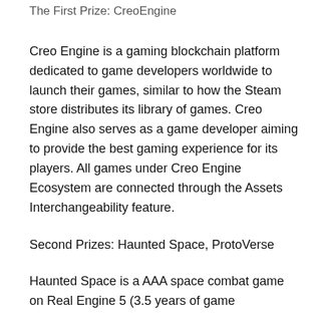The First Prize: CreoEngine
Creo Engine is a gaming blockchain platform dedicated to game developers worldwide to launch their games, similar to how the Steam store distributes its library of games. Creo Engine also serves as a game developer aiming to provide the best gaming experience for its players. All games under Creo Engine Ecosystem are connected through the Assets Interchangeability feature.
Second Prizes: Haunted Space, ProtoVerse
Haunted Space is a AAA space combat game on Real Engine 5 (3.5 years of game development already done) . It is the first project to launch the first single-player version on traditional markets (consoles like PS5, Xbox, Steam) and then integrates blockchain for the multiplayer version Playstation presentation.